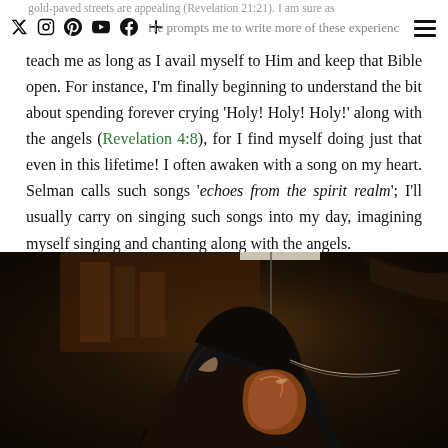gold-paved streets are appealing (Revelation 21:21). I am sure as He prompts me to write more of these experiences, He's going to
teach me as long as I avail myself to Him and keep that Bible open. For instance, I'm finally beginning to understand the bit about spending forever crying 'Holy! Holy! Holy!' along with the angels (Revelation 4:8), for I find myself doing just that even in this lifetime! I often awaken with a song on my heart. Selman calls such songs 'echoes from the spirit realm'; I'll usually carry on singing such songs into my day, imagining myself singing and chanting along with the angels.
[Figure (photo): A woman with dark hair playing violin, photographed from behind/side in a dark concert setting with warm brown tones from the violin and background.]